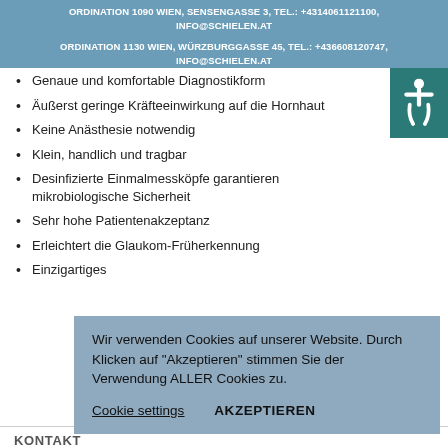ORDINATION 1090 WIEN, SENSENGASSE 3, TEL.: +4314061121100, INFO@SCHIELEN.AT
ORDINATION 1130 WIEN, WÜRZBURGGASSE 45, TEL.: +436608120747, INFO@SCHIELEN.AT
Genaue und komfortable Diagnostikform
Äußerst geringe Kräfteeinwirkung auf die Hornhaut
Keine Anästhesie notwendig
Klein, handlich und tragbar
Desinfizierte Einmalmessköpfe garantieren mikrobiologische Sicherheit
Sehr hohe Patientenakzeptanz
Erleichtert die Glaukom-Früherkennung
Einzigartiges
Wir verwenden Cookies auf unserer Website. Durch Klicken auf "Akzeptieren" stimmen Sie der Verwendung ALLER Cookies zu.

Cookie settings    AKZEPTIEREN
KONTAKT